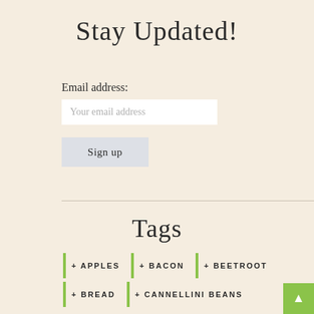Stay Updated!
Email address:
Your email address
Sign up
Tags
+ APPLES
+ BACON
+ BEETROOT
+ BREAD
+ CANNELLINI BEANS